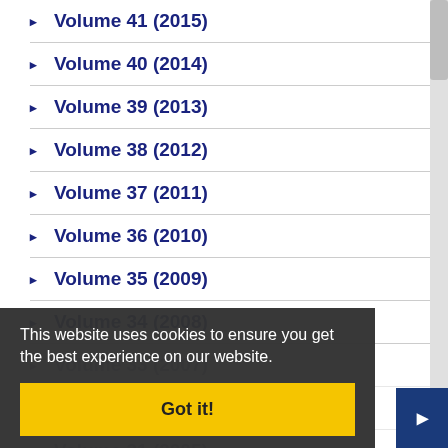Volume 41 (2015)
Volume 40 (2014)
Volume 39 (2013)
Volume 38 (2012)
Volume 37 (2011)
Volume 36 (2010)
Volume 35 (2009)
Volume 34 (2008)
Volume 33 (2007)
Volume 32 (2006)
Volume 31 (2005)
Volume 30 (2004)
This website uses cookies to ensure you get the best experience on our website.
Got it!